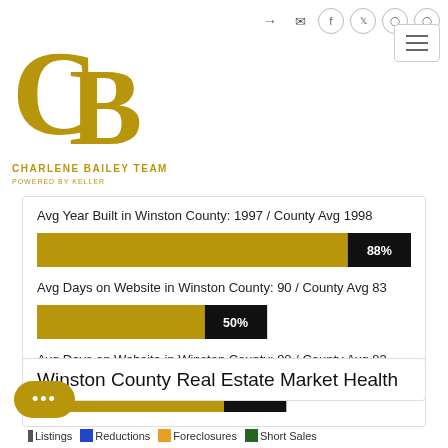[Figure (logo): Charlene Bailey Team real estate logo with gold CB initials and text CHARLENE BAILEY TEAM]
Avg Year Built in Winston County: 1997 / County Avg 1998
[Figure (bar-chart): Avg Year Built]
Avg Days on Website in Winston County: 90 / County Avg 83
[Figure (bar-chart): Avg Days on Website]
Winston County Real Estate Market Health
Listings   Reductions   Foreclosures   Short Sales